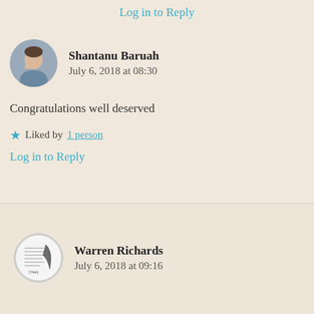Log in to Reply
[Figure (photo): Round avatar photo of Shantanu Baruah, a man with hand near chin]
Shantanu Baruah
July 6, 2018 at 08:30
Congratulations well deserved
Liked by 1 person
Log in to Reply
[Figure (illustration): Round avatar with text/illustration for Warren Richards]
Warren Richards
July 6, 2018 at 09:16